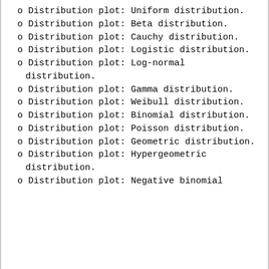o Distribution plot: Uniform distribution.
o Distribution plot: Beta distribution.
o Distribution plot: Cauchy distribution.
o Distribution plot: Logistic distribution.
o Distribution plot: Log-normal distribution.
o Distribution plot: Gamma distribution.
o Distribution plot: Weibull distribution.
o Distribution plot: Binomial distribution.
o Distribution plot: Poisson distribution.
o Distribution plot: Geometric distribution.
o Distribution plot: Hypergeometric distribution.
o Distribution plot: Negative binomial